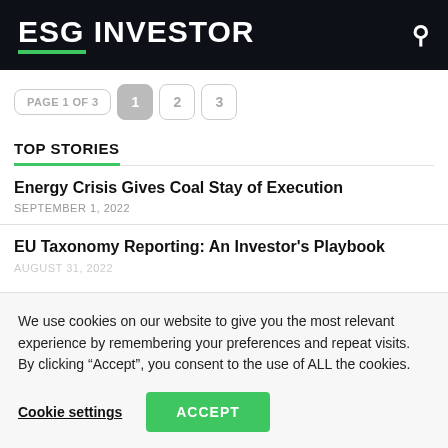ESG INVESTOR
PAGE 1 OF 3  1  2  3
TOP STORIES
Energy Crisis Gives Coal Stay of Execution
SEPTEMBER 1, 2022
EU Taxonomy Reporting: An Investor's Playbook
AUGUST 31, 2022
We use cookies on our website to give you the most relevant experience by remembering your preferences and repeat visits. By clicking “Accept”, you consent to the use of ALL the cookies.
Cookie settings  ACCEPT